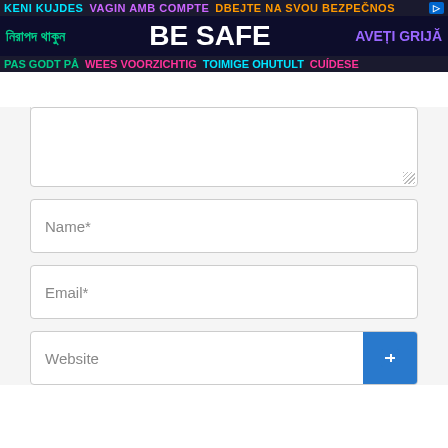[Figure (infographic): Multilingual safety banner reading 'BE SAFE' in large text, with phrases in multiple languages including Bengali, Catalan, Czech, Norwegian, Dutch, Estonian, Spanish, and Romanian. Dark background with colorful text.]
[Figure (screenshot): Web form screenshot with a comment textarea (collapsed), Name*, Email*, and Website input fields. Website field has a blue submit button.]